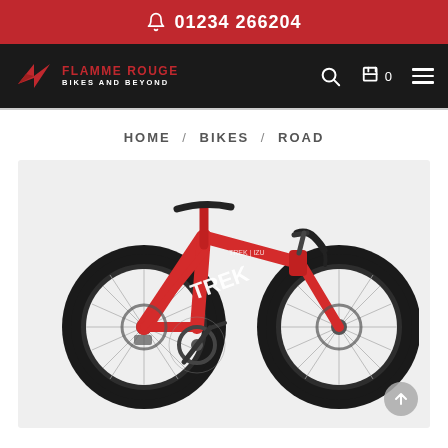01234 266204
[Figure (logo): Flamme Rouge Bikes and Beyond logo with red wing icon on dark background, with search, cart (0), and hamburger menu icons]
HOME / BIKES / ROAD
[Figure (photo): Red Trek road bike with drop handlebars, disc brakes, and carbon deep-section wheels on light grey background]